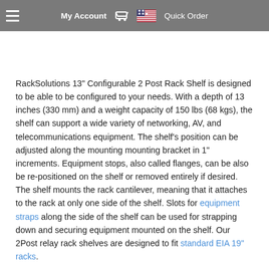My Account  Quick Order
RackSolutions 13" Configurable 2 Post Rack Shelf is designed to be able to be configured to your needs. With a depth of 13 inches (330 mm) and a weight capacity of 150 lbs (68 kgs), the shelf can support a wide variety of networking, AV, and telecommunications equipment. The shelf's position can be adjusted along the mounting mounting bracket in 1" increments. Equipment stops, also called flanges, can be also be re-positioned on the shelf or removed entirely if desired. The shelf mounts the rack cantilever, meaning that it attaches to the rack at only one side of the shelf. Slots for equipment straps along the side of the shelf can be used for strapping down and securing equipment mounted on the shelf. Our 2Post relay rack shelves are designed to fit standard EIA 19" racks.